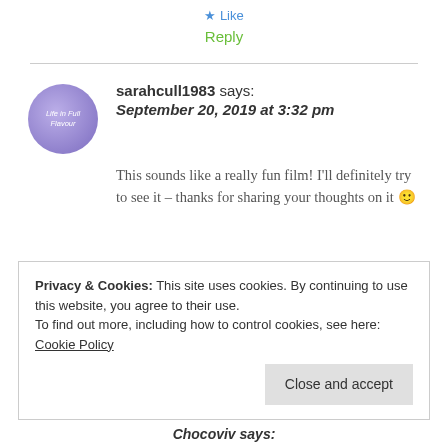Like
Reply
sarahcull1983 says: September 20, 2019 at 3:32 pm
This sounds like a really fun film! I'll definitely try to see it – thanks for sharing your thoughts on it 🙂
Privacy & Cookies: This site uses cookies. By continuing to use this website, you agree to their use. To find out more, including how to control cookies, see here: Cookie Policy
Close and accept
Chocoviv says: